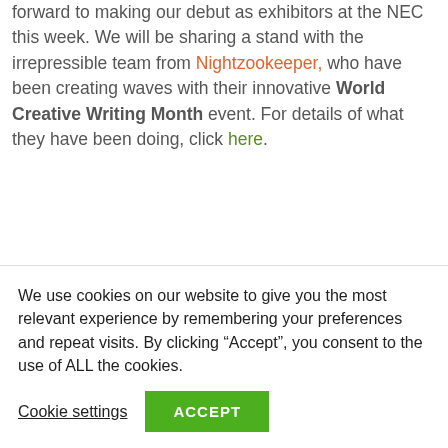forward to making our debut as exhibitors at the NEC this week. We will be sharing a stand with the irrepressible team from Nightzookeeper, who have been creating waves with their innovative World Creative Writing Month event. For details of what they have been doing, click here.
Hopefully you can make time to visit Tagtiv8 and
We use cookies on our website to give you the most relevant experience by remembering your preferences and repeat visits. By clicking “Accept”, you consent to the use of ALL the cookies.
Cookie settings | ACCEPT